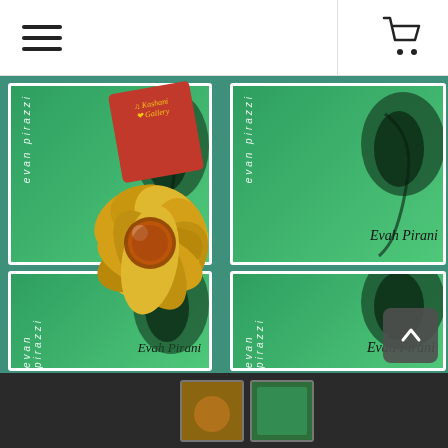[Figure (other): Website header with hamburger menu icon on the left and shopping cart icon on the right, white background with light gray divider line]
[Figure (photo): Product photo showing four Evah Pirazzi violin string packages (green packaging with violin face silhouette) arranged in a 2x2 grid, overlaid with a decorative gold rose/flower ornament with a translucent red gem center, and a small red box with gold script logo in the upper area. Bottom of image shows a partial thumbnail strip.]